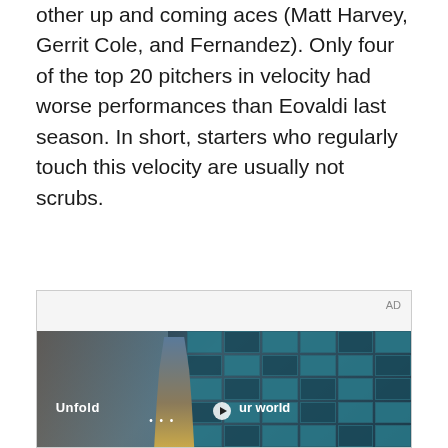other up and coming aces (Matt Harvey, Gerrit Cole, and Fernandez). Only four of the top 20 pitchers in velocity had worse performances than Eovaldi last season. In short, starters who regularly touch this velocity are usually not scrubs.
[Figure (photo): An advertisement (AD) showing a video player with a young man in a denim jacket standing in what appears to be a deli or cafeteria setting with a blue-green glass grid wall behind him. Text overlay reads 'Unfold your world' with a play button in the center.]